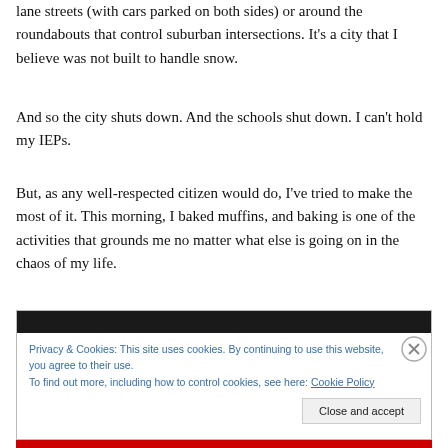lane streets (with cars parked on both sides) or around the roundabouts that control suburban intersections.  It's a city that I believe was not built to handle snow.
And so the city shuts down.  And the schools shut down.  I can't hold my IEPs.
But, as any well-respected citizen would do, I've tried to make the most of it.  This morning, I baked muffins, and baking is one of the activities that grounds me no matter what else is going on in the chaos of my life.
[Figure (screenshot): Cookie consent overlay with dark top bar, blue link text, close button and 'Close and accept' button]